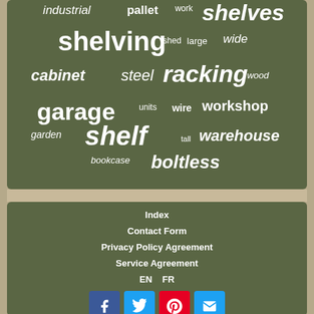[Figure (infographic): Word cloud on olive/dark green background with words related to shelving and storage: shelves, shelving, racking, cabinet, steel, garage, workshop, warehouse, boltless, shelf, garden, bookcase, wire, units, wood, wide, large, shed, pallet, industrial, work, tall]
Index
Contact Form
Privacy Policy Agreement
Service Agreement
EN   FR
[Figure (infographic): Social media icon buttons: Facebook (blue), Twitter (blue), Pinterest (red), Email (blue)]